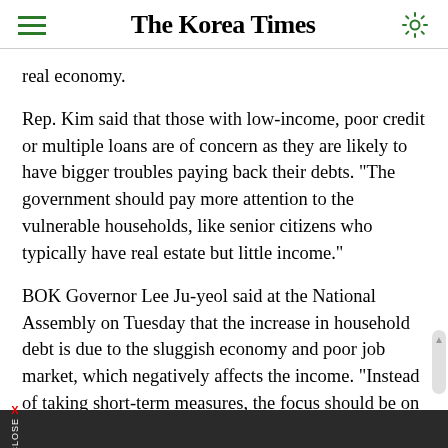The Korea Times
real economy.
Rep. Kim said that those with low-income, poor credit or multiple loans are of concern as they are likely to have bigger troubles paying back their debts. "The government should pay more attention to the vulnerable households, like senior citizens who typically have real estate but little income."
BOK Governor Lee Ju-yeol said at the National Assembly on Tuesday that the increase in household debt is due to the sluggish economy and poor job market, which negatively affects the income. "Instead of taking short-term measures, the focus should be on